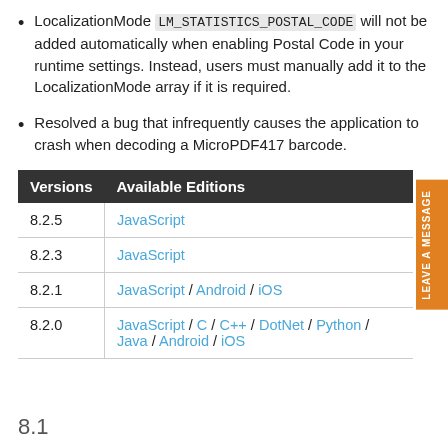LocalizationMode LM_STATISTICS_POSTAL_CODE will not be added automatically when enabling Postal Code in your runtime settings. Instead, users must manually add it to the LocalizationMode array if it is required.
Resolved a bug that infrequently causes the application to crash when decoding a MicroPDF417 barcode.
| Versions | Available Editions |
| --- | --- |
| 8.2.5 | JavaScript |
| 8.2.3 | JavaScript |
| 8.2.1 | JavaScript / Android / iOS |
| 8.2.0 | JavaScript / C / C++ / DotNet / Python / Java / Android / iOS |
8.1